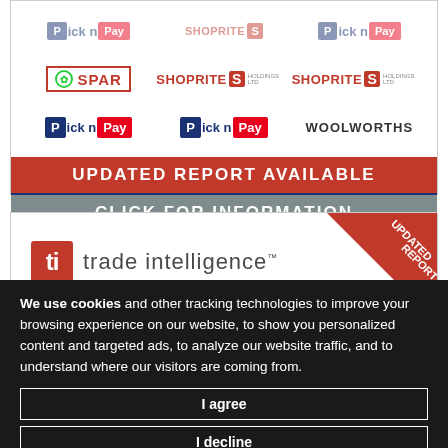[Figure (logo): Grid of retail logos: SPAR, Shoprite Holdings Ltd, Shoprite Holdings Ltd (2x), Pick n Pay, Pick n Pay, Woolworths]
UPDATED REPORT AVAILABLE
CLICK FOR INFORMATION
[Figure (logo): ti trade intelligence logo with Updated Report ribbon in top right corner]
We use cookies and other tracking technologies to improve your browsing experience on our website, to show you personalized content and targeted ads, to analyze our website traffic, and to understand where our visitors are coming from.
I agree
I decline